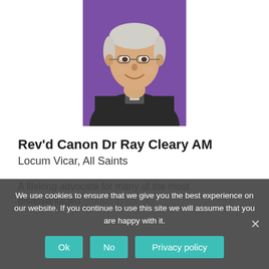[Figure (photo): Headshot of Rev'd Canon Dr Ray Cleary AM, an older man with white hair and glasses, wearing black clerical clothing, smiling, against a purple background.]
Rev'd Canon Dr Ray Cleary AM
Locum Vicar, All Saints
A lifelong advocate for many of the most disadvantaged groups in society,
We use cookies to ensure that we give you the best experience on our website. If you continue to use this site we will assume that you are happy with it.
Ok | No | Privacy policy